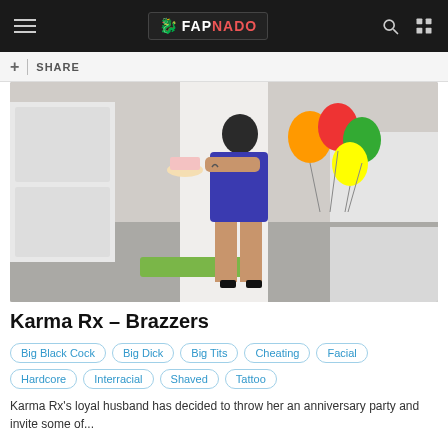FAPNADO
[Figure (photo): Woman in a blue dress holding a cake in a modern white kitchen with colorful balloons]
Karma Rx – Brazzers
Big Black Cock
Big Dick
Big Tits
Cheating
Facial
Hardcore
Interracial
Shaved
Tattoo
Karma Rx's loyal husband has decided to throw her an anniversary party and invite some of...